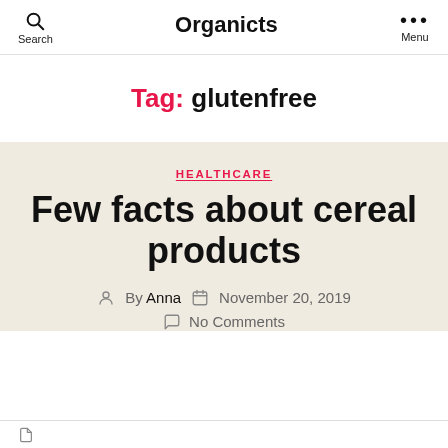Search | Organicts | Menu
Tag: glutenfree
HEALTHCARE
Few facts about cereal products
By Anna  November 20, 2019  No Comments